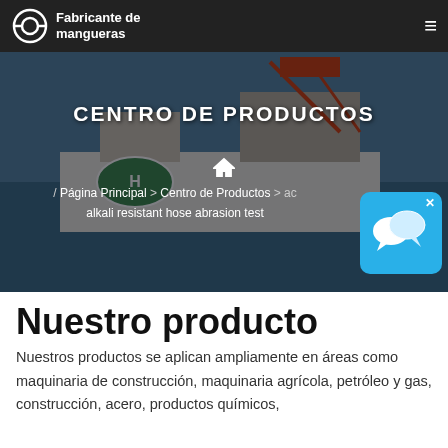Fabricante de mangueras
[Figure (photo): Offshore oil platform/ship with industrial equipment in a dark overlay hero banner]
CENTRO DE PRODUCTOS
/ Página Principal > Centro de Productos > ac... alkali resistant hose abrasion test
[Figure (illustration): Blue chat bubble popup overlay with close X button]
Nuestro producto
Nuestros productos se aplican ampliamente en áreas como maquinaria de construcción, maquinaria agrícola, petróleo y gas, construcción, acero, productos químicos,